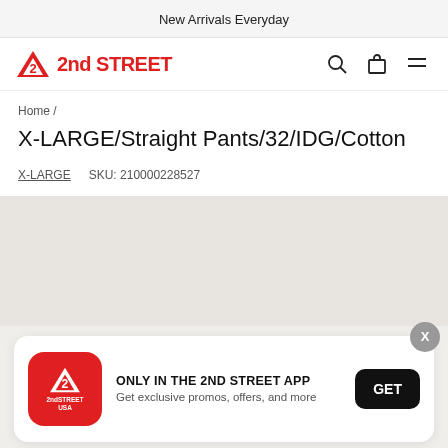New Arrivals Everyday
[Figure (logo): 2nd STREET logo with red inverted triangle containing number 2]
Home /
X-LARGE/Straight Pants/32/IDG/Cotton
X-LARGE   SKU: 210000228527
[Figure (photo): Product image area - gray background]
ONLY IN THE 2ND STREET APP
Get exclusive promos, offers, and more